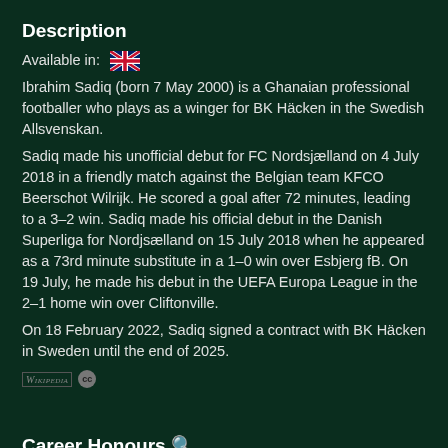Description
Available in: 🇬🇧
Ibrahim Sadiq (born 7 May 2000) is a Ghanaian professional footballer who plays as a winger for BK Häcken in the Swedish Allsvenskan.
Sadiq made his unofficial debut for FC Nordsjælland on 4 July 2018 in a friendly match against the Belgian team KFCO Beerschot Wilrijk. He scored a goal after 72 minutes, leading to a 3–2 win. Sadiq made his official debut in the Danish Superliga for Nordjsælland on 15 July 2018 when he appeared as a 73rd minute substitute in a 1–0 win over Esbjerg fB. On 19 July, he made his debut in the UEFA Europa League in the 2–1 home win over Cliftonville.
On 18 February 2022, Sadiq signed a contract with BK Häcken in Sweden until the end of 2025.
Wikipedia CC
Career Honours 🔍